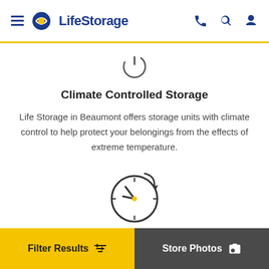[Figure (logo): Life Storage logo with hamburger menu icon on the left and phone, search, user icons on the right in the navigation header]
[Figure (illustration): Power/on button icon (thermometer/climate control symbol)]
Climate Controlled Storage
Life Storage in Beaumont offers storage units with climate control to help protect your belongings from the effects of extreme temperature.
[Figure (illustration): Clock icon with an arrow indicating extended/24-hour access hours]
Filter Results  Store Photos